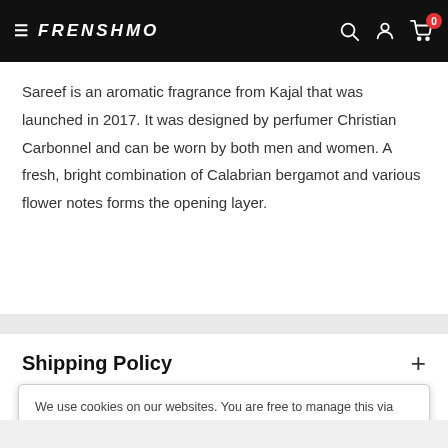FRENSHMO — navigation header with hamburger menu, logo, search, account, and cart icons
Sareef is an aromatic fragrance from Kajal that was launched in 2017. It was designed by perfumer Christian Carbonnel and can be worn by both men and women. A fresh, bright combination of Calabrian bergamot and various flower notes forms the opening layer.
Shipping Policy
We use cookies on our websites. You are free to manage this via your browser setting at any time.